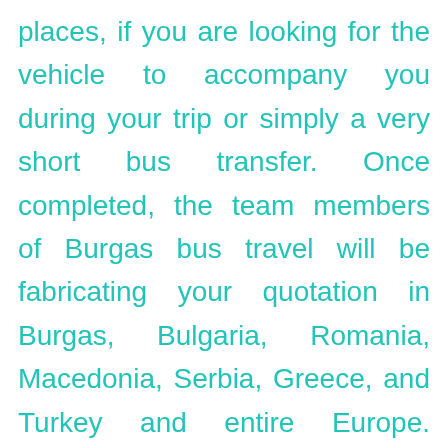places, if you are looking for the vehicle to accompany you during your trip or simply a very short bus transfer. Once completed, the team members of Burgas bus travel will be fabricating your quotation in Burgas, Bulgaria, Romania, Macedonia, Serbia, Greece, and Turkey and entire Europe. Indeed we do not just